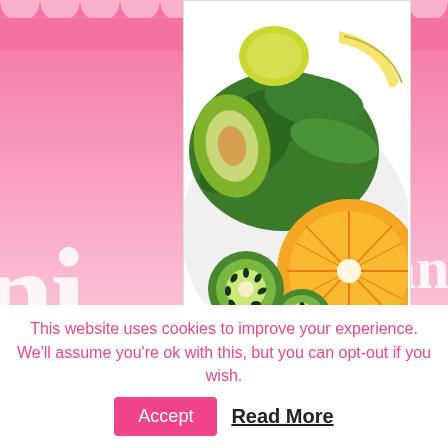[Figure (photo): A plate with various green smoothie ingredients: avocado, lime, spinach leaves, banana, kiwi slices, and a halved orange]
Save
2. Now throw in all other ingredients and blend until smooth and creamy. Tweak flavors to taste, add more sweetener etc. I do not like it as sweet, thats why I advise you to always, with every recipe you are blending: Taste it then tweak it if
This website uses cookies to improve your experience. We'll assume you're ok with this, but you can opt-out if you wish.
Accept
Read More